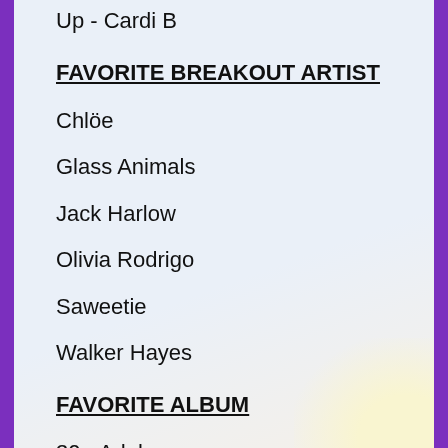Up - Cardi B
FAVORITE BREAKOUT ARTIST
Chlöe
Glass Animals
Jack Harlow
Olivia Rodrigo
Saweetie
Walker Hayes
FAVORITE ALBUM
30 - Adele